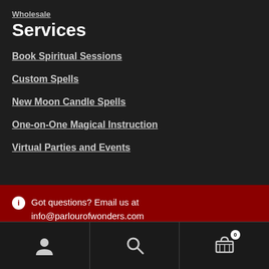Wholesale
Services
Book Spiritual Sessions
Custom Spells
New Moon Candle Spells
One-on-One Magical Instruction
Virtual Parties and Events
Got questions? Email us at info@parlourofwonders.com
Dismiss